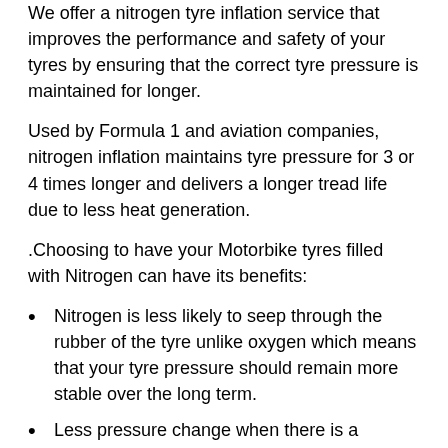We offer a nitrogen tyre inflation service that improves the performance and safety of your tyres by ensuring that the correct tyre pressure is maintained for longer.
Used by Formula 1 and aviation companies, nitrogen inflation maintains tyre pressure for 3 or 4 times longer and delivers a longer tread life due to less heat generation.
.Choosing to have your Motorbike tyres filled with Nitrogen can have its benefits:
Nitrogen is less likely to seep through the rubber of the tyre unlike oxygen which means that your tyre pressure should remain more stable over the long term.
Less pressure change when there is a change in temperature
Less mositure inside you tyres meaning less corrosion on your wheels
Whilst this can save you some money on fuel and tyre